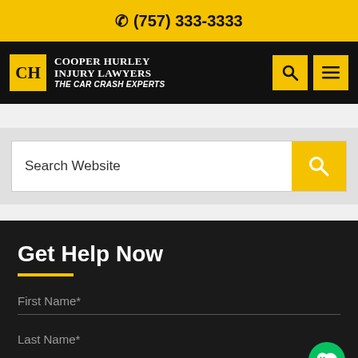(757) 333-3333
[Figure (logo): Cooper Hurley Injury Lawyers - The Car Crash Experts logo with CH monogram in yellow box on black navigation bar]
Search Website
Get Help Now
First Name*
Last Name*